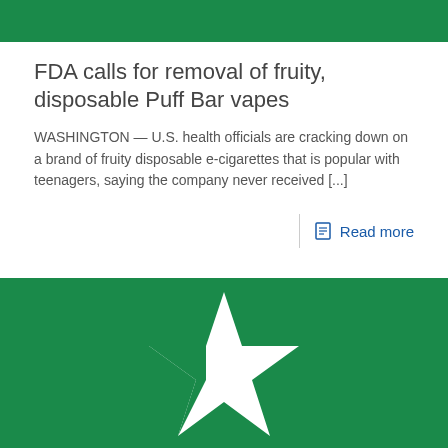[Figure (other): Green banner/header bar at top of page]
FDA calls for removal of fruity, disposable Puff Bar vapes
WASHINGTON — U.S. health officials are cracking down on a brand of fruity disposable e-cigarettes that is popular with teenagers, saying the company never received [...]
Read more
[Figure (illustration): Green rectangle with a white star logo (resembling a news/media outlet star icon) centered on it]